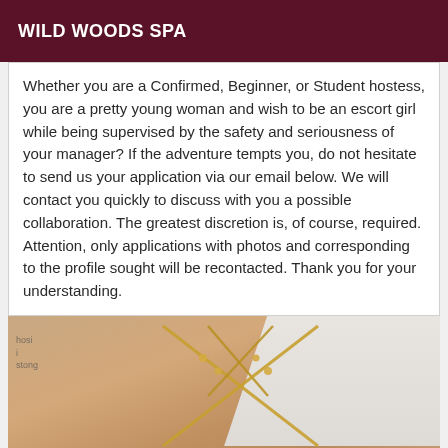WILD WOODS SPA
Whether you are a Confirmed, Beginner, or Student hostess, you are a pretty young woman and wish to be an escort girl while being supervised by the safety and seriousness of your manager? If the adventure tempts you, do not hesitate to send us your application via our email below. We will contact you quickly to discuss with you a possible collaboration. The greatest discretion is, of course, required. Attention, only applications with photos and corresponding to the profile sought will be recontacted. Thank you for your understanding.
[Figure (photo): Photo showing the back of a person wearing a criss-cross backless top with gold chain detail, against a light wall background]